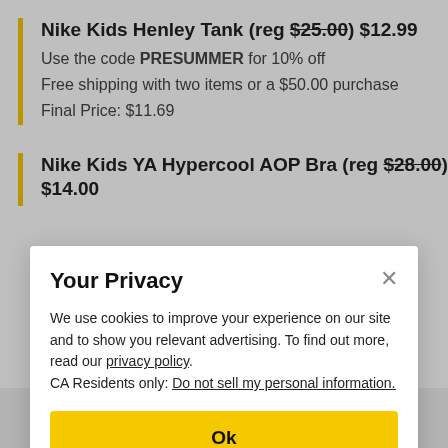Nike Kids Henley Tank (reg $25.00) $12.99 — Use the code PRESUMMER for 10% off — Free shipping with two items or a $50.00 purchase — Final Price: $11.69
Nike Kids YA Hypercool AOP Bra (reg $28.00) $14.00
Your Privacy
We use cookies to improve your experience on our site and to show you relevant advertising. To find out more, read our privacy policy. CA Residents only: Do not sell my personal information.
Ok